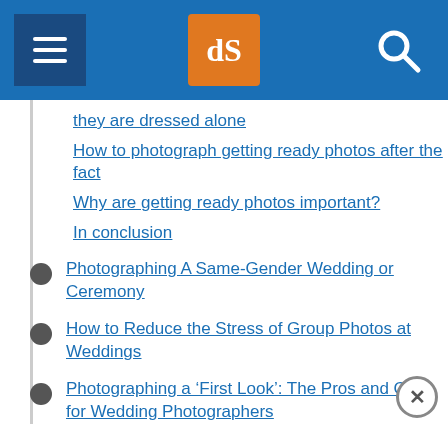dPS navigation header
they are dressed alone
How to photograph getting ready photos after the fact
Why are getting ready photos important?
In conclusion
Photographing A Same-Gender Wedding or Ceremony
How to Reduce the Stress of Group Photos at Weddings
Photographing a ‘First Look’: The Pros and Cons for Wedding Photographers